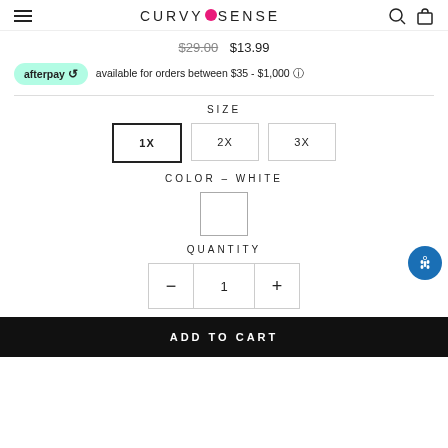CURVY SENSE — navigation header with hamburger, logo, search and cart icons
$29.00  $13.99
afterpay available for orders between $35 - $1,000
SIZE
1X  2X  3X
COLOR – WHITE
QUANTITY
- 1 +
ADD TO CART